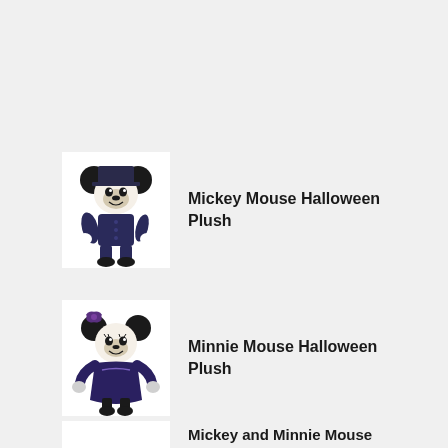[Figure (photo): Mickey Mouse Halloween Plush toy in dark blue/black Halloween costume, standing upright]
Mickey Mouse Halloween Plush
[Figure (photo): Minnie Mouse Halloween Plush toy in dark blue/purple Halloween dress with accessories]
Minnie Mouse Halloween Plush
[Figure (photo): Partial view of Mickey and Minnie Mouse Halloween product at the bottom of the page]
Mickey and Minnie Mouse